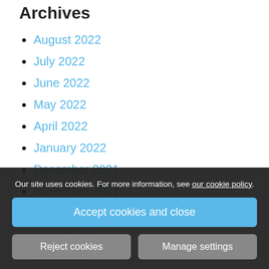Archives
August 2022
July 2022
June 2022
May 2022
April 2022
January 2022
December 2021
November 2021
September 2021
August 2021
June 2021
May 2021
April 2021
March 2021
February 2021
January 2021
Our site uses cookies. For more information, see our cookie policy.
Accept cookies and close
Reject cookies
Manage settings